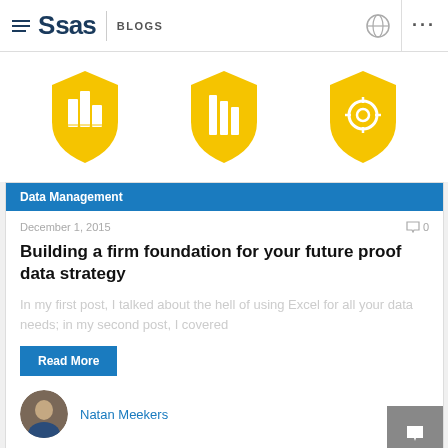SAS BLOGS
[Figure (illustration): Three yellow shield icons with data/analytics symbols]
Data Management
December 1, 2015
Building a firm foundation for your future proof data strategy
In my first post, I talked about the hell of using Excel for all your data needs; in my second post, I covered
Read More
Natan Meekers